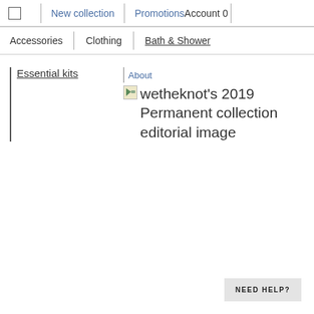New collection | Promotions | Account 0
Accessories | Clothing | Bath & Shower
Essential kits
About
[Figure (screenshot): Broken image placeholder icon (small green arrow icon)]
wetheknot's 2019 Permanent collection editorial image
NEED HELP?